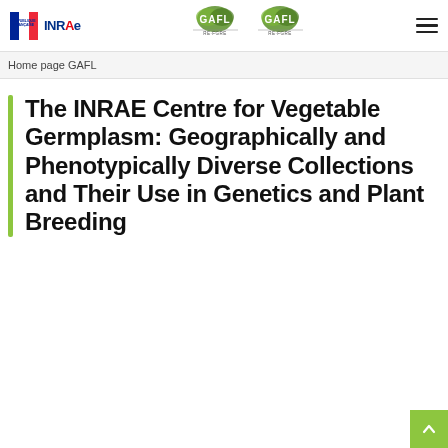[Figure (logo): Website header with République Française flag, INRAE logo, two GAFL logos, and hamburger menu icon]
Home page GAFL
The INRAE Centre for Vegetable Germplasm: Geographically and Phenotypically Diverse Collections and Their Use in Genetics and Plant Breeding